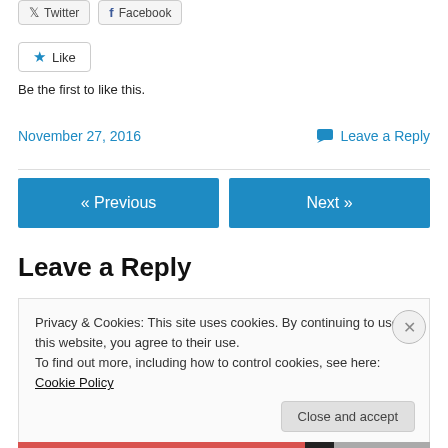[Figure (other): Social share buttons: Twitter and Facebook]
[Figure (other): Like button with star icon]
Be the first to like this.
November 27, 2016   Leave a Reply
[Figure (other): Previous and Next navigation buttons]
Leave a Reply
Privacy & Cookies: This site uses cookies. By continuing to use this website, you agree to their use.
To find out more, including how to control cookies, see here: Cookie Policy
[Figure (other): Close and accept button]